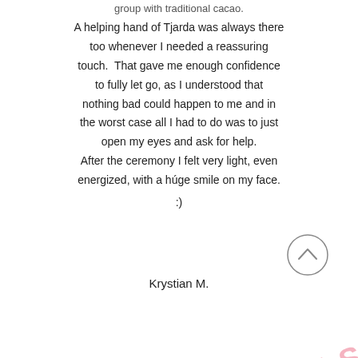group with traditional cacao. A helping hand of Tjarda was always there too whenever I needed a reassuring touch.  That gave me enough confidence to fully let go, as I understood that nothing bad could happen to me and in the worst case all I had to do was to just open my eyes and ask for help. After the ceremony I felt very light, even energized, with a húge smile on my face. :)
Krystian M.
[Figure (illustration): Circle with an upward-pointing chevron/caret arrow inside, used as a scroll-to-top button]
[Figure (illustration): Diagonal pink banner with text ONIALS (partial word, likely TESTIMONIALS) in bold pink letters]